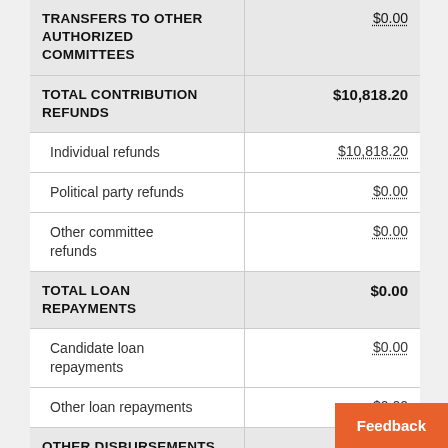| Category | Amount |
| --- | --- |
| TRANSFERS TO OTHER AUTHORIZED COMMITTEES | $0.00 |
| TOTAL CONTRIBUTION REFUNDS | $10,818.20 |
| Individual refunds | $10,818.20 |
| Political party refunds | $0.00 |
| Other committee refunds | $0.00 |
| TOTAL LOAN REPAYMENTS | $0.00 |
| Candidate loan repayments | $0.00 |
| Other loan repayments | $0.00 |
| OTHER DISBURSEMENTS |  |